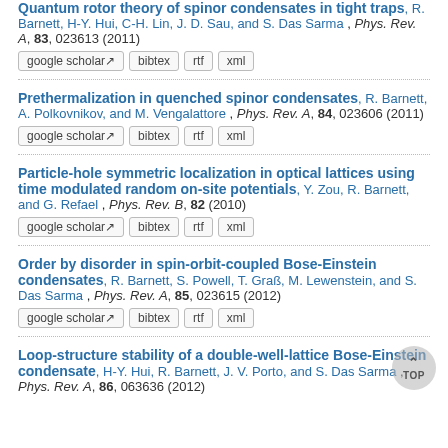Quantum rotor theory of spinor condensates in tight traps, R. Barnett, H-Y. Hui, C-H. Lin, J. D. Sau, and S. Das Sarma , Phys. Rev. A, 83, 023613 (2011) [google scholar] [bibtex] [rtf] [xml]
Prethermalization in quenched spinor condensates, R. Barnett, A. Polkovnikov, and M. Vengalattore , Phys. Rev. A, 84, 023606 (2011) [google scholar] [bibtex] [rtf] [xml]
Particle-hole symmetric localization in optical lattices using time modulated random on-site potentials, Y. Zou, R. Barnett, and G. Refael , Phys. Rev. B, 82 (2010) [google scholar] [bibtex] [rtf] [xml]
Order by disorder in spin-orbit-coupled Bose-Einstein condensates, R. Barnett, S. Powell, T. Graß, M. Lewenstein, and S. Das Sarma , Phys. Rev. A, 85, 023615 (2012) [google scholar] [bibtex] [rtf] [xml]
Loop-structure stability of a double-well-lattice Bose-Einstein condensate, H-Y. Hui, R. Barnett, J. V. Porto, and S. Das Sarma , Phys. Rev. A, 86, 063636 (2012)